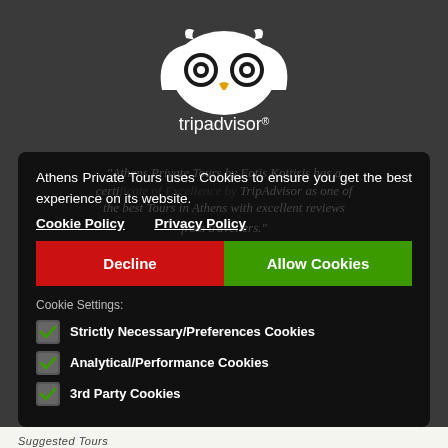[Figure (logo): TripAdvisor owl logo in white on dark grey background, with 'tripadvisor®' text below]
Athens Private Tours uses Cookies to ensure you get the best experience on its website.
Cookie Policy   Privacy Policy
Decline   Allow Cookies
Cookie Settings:
Strictly Necessary/Preferences Cookies
Analytical/Performance Cookies
3rd Party Cookies
Suggested Tours